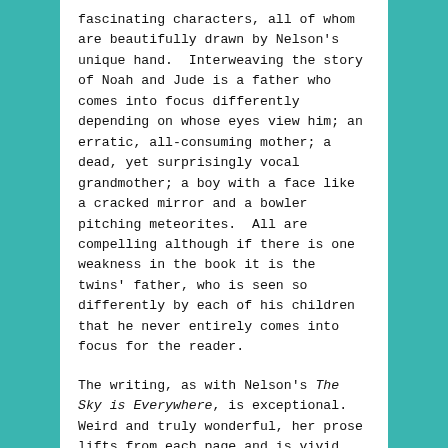fascinating characters, all of whom are beautifully drawn by Nelson's unique hand.  Interweaving the story of Noah and Jude is a father who comes into focus differently depending on whose eyes view him; an erratic, all-consuming mother; a dead, yet surprisingly vocal grandmother; a boy with a face like a cracked mirror and a bowler pitching meteorites.  All are compelling although if there is one weakness in the book it is the twins' father, who is seen so differently by each of his children that he never entirely comes into focus for the reader.
The writing, as with Nelson's The Sky is Everywhere, is exceptional.  Weird and truly wonderful, her prose lifts from each page and is vivid, visceral and lush, allowing the reader to transcend the basic plot and engulf themselves in